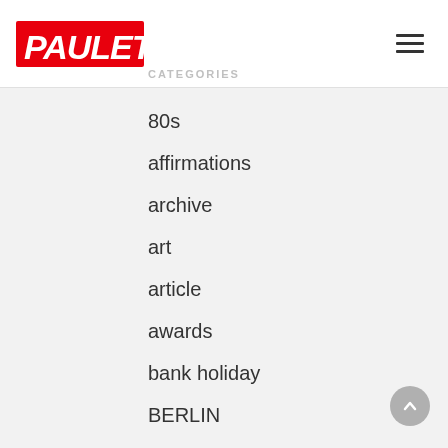PAULETTE — navigation header with hamburger menu
CATEGORIES
80s
affirmations
archive
art
article
awards
bank holiday
BERLIN
blog
boiler room
book
Brighton